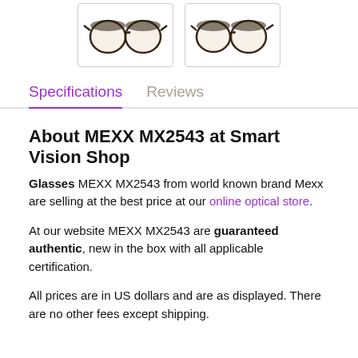[Figure (photo): Two thumbnail images of MEXX MX2543 eyeglasses frames shown from slightly different angles, round frames with dark top and golden/transparent bottom, displayed in bordered boxes]
Specifications | Reviews
About MEXX MX2543 at Smart Vision Shop
Glasses MEXX MX2543 from world known brand Mexx are selling at the best price at our online optical store.
At our website MEXX MX2543 are guaranteed authentic, new in the box with all applicable certification.
All prices are in US dollars and are as displayed. There are no other fees except shipping.